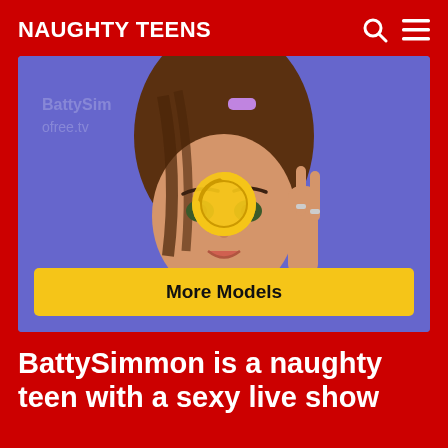NAUGHTY TEENS
[Figure (photo): Photo of a young woman with long brown hair and a purple hair clip, against a blue background. A yellow circular play/loading icon is overlaid on the center of the image. A yellow 'More Models' button is displayed at the bottom of the image.]
BattySimmon is a naughty teen with a sexy live show